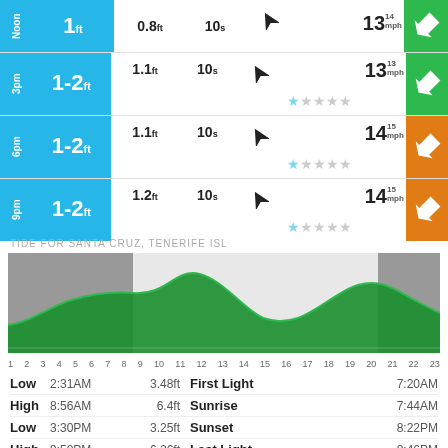| Time | Wave Height | Swell | Period | Direction | Rating | Wind Speed | Wind Dir |
| --- | --- | --- | --- | --- | --- | --- | --- |
| Noon | 1ft | 0.8ft | 10s | NW |  | 13 14mph | green |
| 3pm | 1-2ft | 1.1ft | 10s | NW | 1 star | 13 13mph | green |
| 6pm | 1-2ft | 1.1ft | 10s | NW | 1 star | 14 15mph | orange |
| 9pm | 1-2ft | 1.2ft | 10s | NW | 1 star | 14 15mph | orange |
TIDE FOR SANTA CRUZ, TENERIFE ISL
[Figure (area-chart): Tide chart showing tidal curve over 24 hours (1-23), with gray shading for night/dark hours and green for daytime. The curve shows low and high tides.]
| Type | Time | Height | Event | Time |
| --- | --- | --- | --- | --- |
| Low | 2:31AM | 3.48ft | First Light | 7:20AM |
| High | 8:56AM | 6.4ft | Sunrise | 7:44AM |
| Low | 3:30PM | 3.25ft | Sunset | 8:22PM |
| High | 9:50PM | 6.26ft | Last Light | 8:46PM |